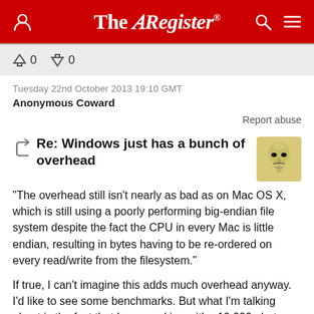The Register
↑0  ↓0
Tuesday 22nd October 2013 19:10 GMT
Anonymous Coward
Report abuse
Re: Windows just has a bunch of overhead
[Figure (illustration): Guy Fawkes / Anonymous mask avatar icon]
"The overhead still isn't nearly as bad as on Mac OS X, which is still using a poorly performing big-endian file system despite the fact the CPU in every Mac is little endian, resulting in bytes having to be re-ordered on every read/write from the filesystem."
If true, I can't imagine this adds much overhead anyway. I'd like to see some benchmarks. But what I'm talking about is the fact that I was working with ~10,000 photos this morning and moving